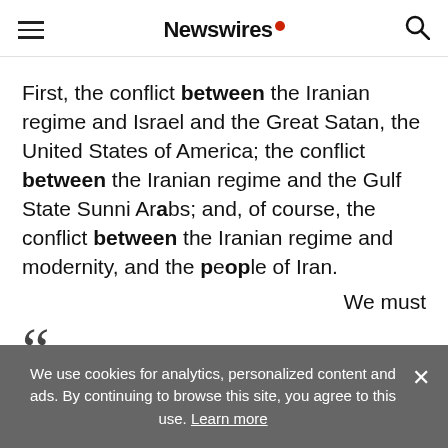Newswires
First, the conflict between the Iranian regime and Israel and the Great Satan, the United States of America; the conflict between the Iranian regime and the Gulf State Sunni Arabs; and, of course, the conflict between the Iranian regime and modernity, and the people of Iran.
We must
““
We use cookies for analytics, personalized content and ads. By continuing to browse this site, you agree to this use. Learn more